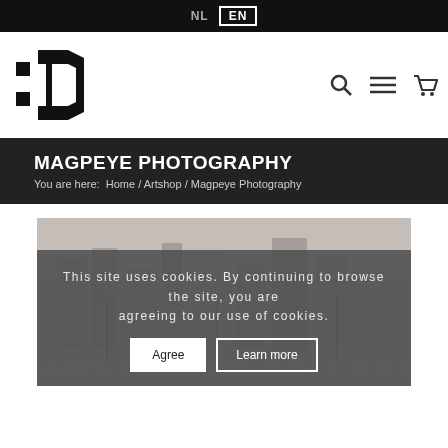NL  EN
[Figure (logo): Centrum voor beeldende kunst logo — stylized ':C' letterform in black]
MAGPEYE PHOTOGRAPHY
You are here:  Home / Artshop / Magpeye Photography
[Figure (photo): Muted urban collage photograph of city buildings and bare trees, with text overlay 'AMSTERDAM COLLAGE']
This site uses cookies. By continuing to browse the site, you are agreeing to our use of cookies.